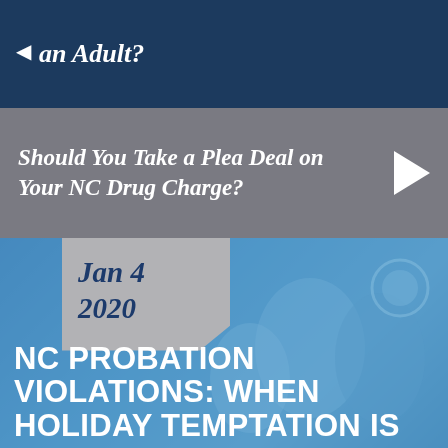an Adult?
Should You Take a Plea Deal on Your NC Drug Charge?
Jan 4 2020
NC PROBATION VIOLATIONS: WHEN HOLIDAY TEMPTATION IS